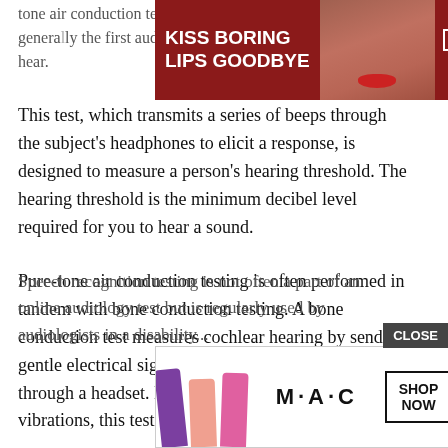[Figure (other): Macy's lipstick advertisement banner at top with model and 'KISS BORING LIPS GOODBYE' / 'SHOP NOW' text]
tone air conduction testing is the most common type and is generally the first audiological test given to assess ability to hear. This test, which transmits a series of beeps through the subject's headphones to elicit a response, is designed to measure a person's hearing threshold. The hearing threshold is the minimum decibel level required for you to hear a sound.
Pure-tone air conduction testing is often performed in tandem with bone conduction testing. A bone conduction test measures cochlear hearing by sending gentle electrical signals to the back of the skull through a headset. Despite the use of electrical vibrations, this test is completely painless.
Speech recognition testing is not often a part of an online audiology test but is regularly used by audiologists in a disability...
[Figure (other): MAC cosmetics lipstick advertisement banner at bottom with colorful lipsticks and 'SHOP NOW' button]
CLOSE